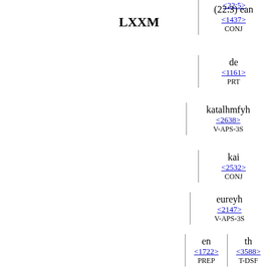(22:5) [partial top, cut off]
LXXM
(22:3) ean
<1437>
CONJ
de
<1161>
PRT
katalhmfyh
<2638>
V-APS-3S
kai
<2532>
CONJ
eureyh
<2147>
V-APS-3S
en | th
<1722> | <3588>
PREP | T-DSF
ceiri | autou
<5495> | <846>
N-DSF | D-GSM
to
<3588>